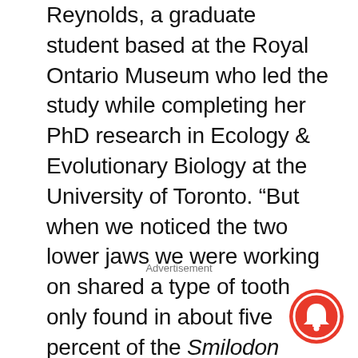Reynolds, a graduate student based at the Royal Ontario Museum who led the study while completing her PhD research in Ecology & Evolutionary Biology at the University of Toronto. “But when we noticed the two lower jaws we were working on shared a type of tooth only found in about five percent of the Smilodon fatalis population, we knew the work was about to become much more interesting.”
Advertisement